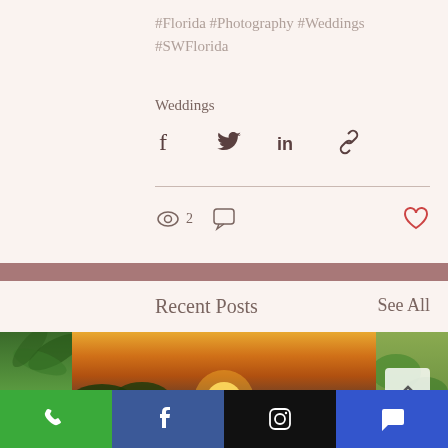#Florida #Photography #Weddings #SWFlorida
Weddings
[Figure (infographic): Social share icons row: Facebook, Twitter, LinkedIn, Link/chain icon]
[Figure (infographic): Stats row: eye icon with count 2, comment bubble icon, heart icon on right]
[Figure (infographic): Pink/mauve horizontal divider bar]
Recent Posts
See All
[Figure (photo): Wedding couple standing on a dock at sunset over water, surrounded by partial thumbnail photos on left and right]
[Figure (infographic): Bottom navigation bar with phone (green), Facebook (blue), Instagram (black), chat (blue) buttons]